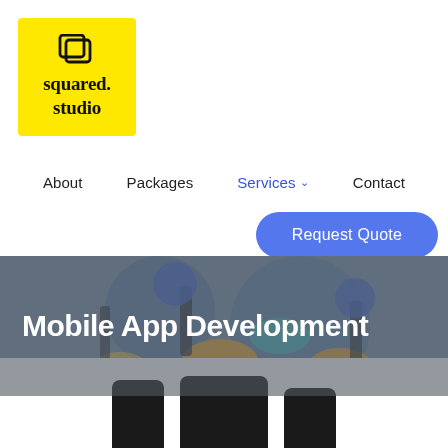[Figure (logo): squared.studio logo — yellow square background with layered square icon and serif text 'squared. studio']
About    Packages    Services ∨    Contact
Request Quote
Mobile App Development
[Figure (illustration): Three mobile phone silhouettes visible at the bottom of the page, partially cropped]